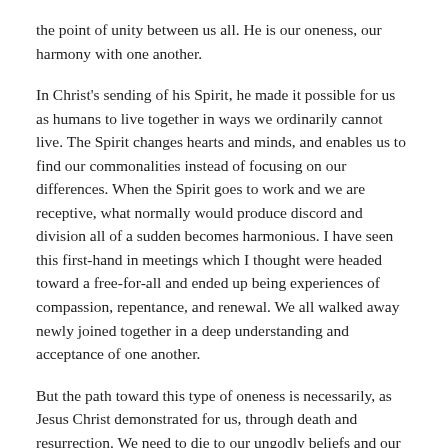the point of unity between us all. He is our oneness, our harmony with one another.
In Christ's sending of his Spirit, he made it possible for us as humans to live together in ways we ordinarily cannot live. The Spirit changes hearts and minds, and enables us to find our commonalities instead of focusing on our differences. When the Spirit goes to work and we are receptive, what normally would produce discord and division all of a sudden becomes harmonious. I have seen this first-hand in meetings which I thought were headed toward a free-for-all and ended up being experiences of compassion, repentance, and renewal. We all walked away newly joined together in a deep understanding and acceptance of one another.
But the path toward this type of oneness is necessarily, as Jesus Christ demonstrated for us, through death and resurrection. We need to die to our ungodly beliefs and our unhealthy ways of living and being. This is repentance. We need to rise in Christ to our new life he purchased for us and begin to make room for one another. We need to surrender our prejudices, our hate, our evil, and embrace the grace and love which is ours, while sharing it with each and every person we meet. This is faith. We turn from